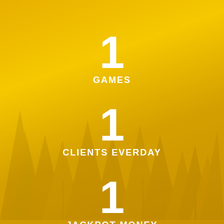[Figure (infographic): Yellow/golden background with faint tree silhouettes overlay. Three stat blocks each showing the number 1 with a label: GAMES, CLIENTS EVERDAY, JACKPOT MONEY.]
1
GAMES
1
CLIENTS EVERDAY
1
JACKPOT MONEY